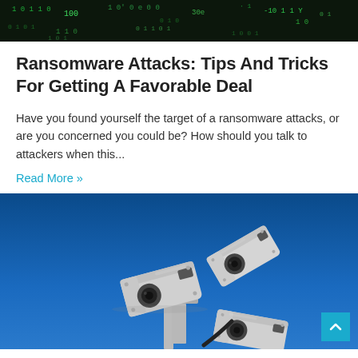[Figure (photo): Dark background with green matrix-style binary/code characters overlay (hacking/cybersecurity theme)]
Ransomware Attacks: Tips And Tricks For Getting A Favorable Deal
Have you found yourself the target of a ransomware attacks, or are you concerned you could be? How should you talk to attackers when this...
Read More »
[Figure (photo): Three security surveillance cameras mounted on a pole against a bright blue sky, viewed from below]